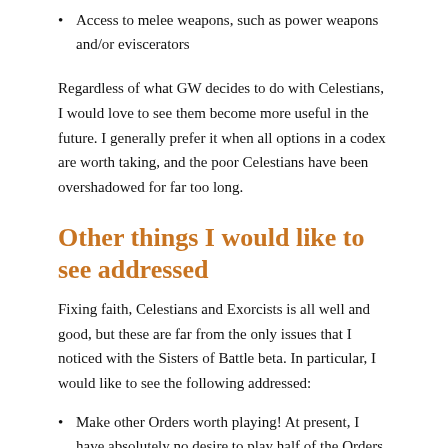Access to melee weapons, such as power weapons and/or eviscerators
Regardless of what GW decides to do with Celestians, I would love to see them become more useful in the future. I generally prefer it when all options in a codex are worth taking, and the poor Celestians have been overshadowed for far too long.
Other things I would like to see addressed
Fixing faith, Celestians and Exorcists is all well and good, but these are far from the only issues that I noticed with the Sisters of Battle beta. In particular, I would like to see the following addressed:
Make other Orders worth playing! At present, I have absolutely no desire to play half of the Orders in the book, simply because their Convictions are either unimpressive or flat out bad. This is particularly egregious in the case of the Order of Our Martyred Lady, who are essentially the poster girls of the